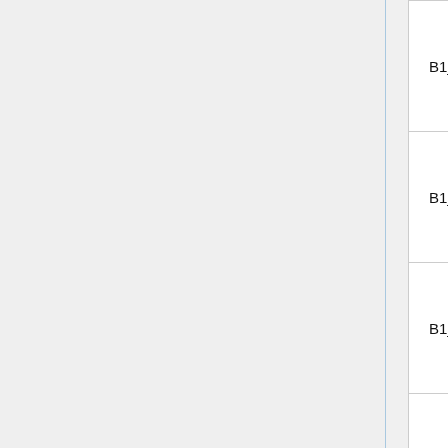| Name | Dim | Description |
| --- | --- | --- |
| B1_I135_MICRO_ABS | 2G | Microscopic absorption cross section I-135 |
| B1_XE135_MICRO_ABS | 2G | Microscopic absorption cross section Xe-135 |
| B1_XE135M_MICRO_ABS | 2G | Microscopic absorption cross section Xe-135m |
| B1_PM149_MICRO_ABS | 2G | Microscopic absorption cross section Pm-149 |